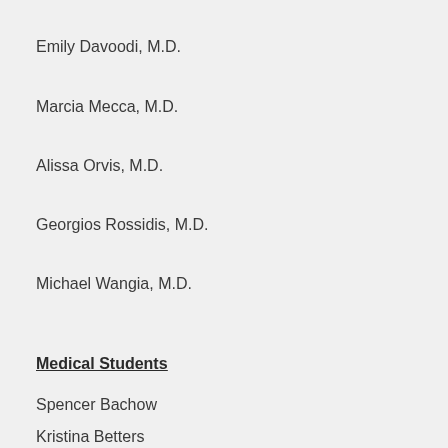Emily Davoodi, M.D.
Marcia Mecca, M.D.
Alissa Orvis, M.D.
Georgios Rossidis, M.D.
Michael Wangia, M.D.
Medical Students
Spencer Bachow
Kristina Betters